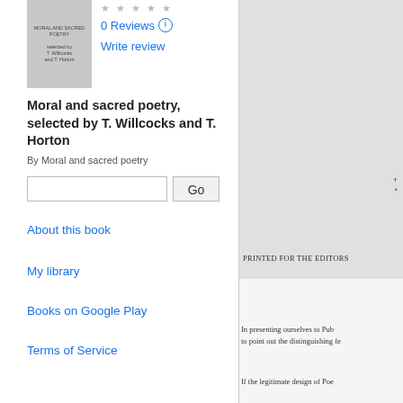[Figure (illustration): Book cover thumbnail of Moral and sacred poetry]
0 Reviews
Write review
Moral and sacred poetry, selected by T. Willcocks and T. Horton
By Moral and sacred poetry
Go
About this book
My library
Books on Google Play
Terms of Service
PRINTED FOR THE EDITORS
In presenting ourselves to Pub to point out the distinguishing fe
If the legitimate design of Poe